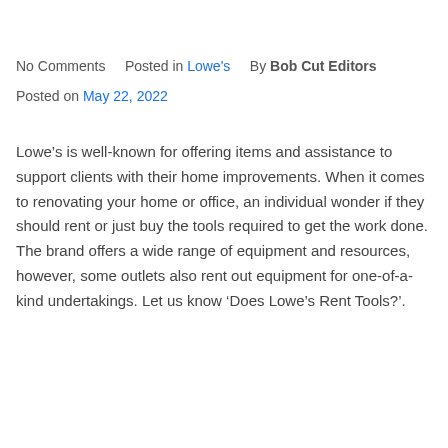No Comments    Posted in Lowe's    By Bob Cut Editors
Posted on May 22, 2022
Lowe’s is well-known for offering items and assistance to support clients with their home improvements. When it comes to renovating your home or office, an individual wonder if they should rent or just buy the tools required to get the work done. The brand offers a wide range of equipment and resources, however, some outlets also rent out equipment for one-of-a-kind undertakings. Let us know ‘Does Lowe’s Rent Tools?’.